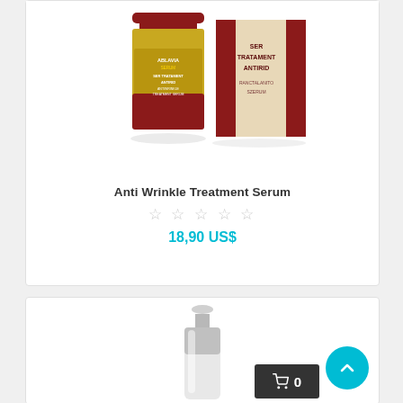[Figure (photo): Anti Wrinkle Treatment Serum product photo showing a dark red cylindrical bottle and a beige/cream colored product box with gold and dark red label text]
Anti Wrinkle Treatment Serum
★★★★★ (empty stars rating)
18,90 US$
[Figure (photo): Second product partial view showing a silver/chrome cylindrical bottle, partially visible at the bottom of the page]